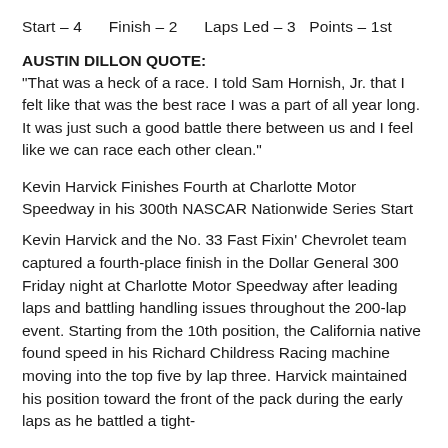Start – 4    Finish – 2    Laps Led – 3  Points – 1st
AUSTIN DILLON QUOTE:
“That was a heck of a race. I told Sam Hornish, Jr. that I felt like that was the best race I was a part of all year long. It was just such a good battle there between us and I feel like we can race each other clean.”
Kevin Harvick Finishes Fourth at Charlotte Motor Speedway in his 300th NASCAR Nationwide Series Start
Kevin Harvick and the No. 33 Fast Fixin’ Chevrolet team captured a fourth-place finish in the Dollar General 300 Friday night at Charlotte Motor Speedway after leading laps and battling handling issues throughout the 200-lap event. Starting from the 10th position, the California native found speed in his Richard Childress Racing machine moving into the top five by lap three. Harvick maintained his position toward the front of the pack during the early laps as he battled a tight-